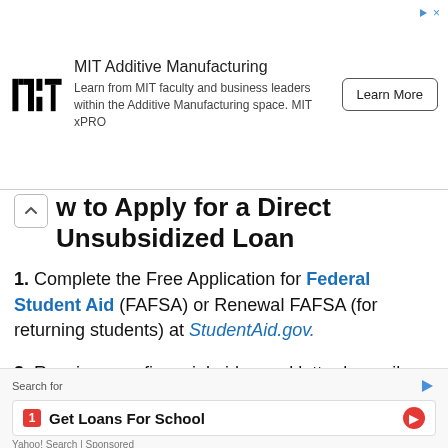[Figure (logo): MIT logo and advertisement banner for MIT Additive Manufacturing course with Learn More button]
How to Apply for a Direct Unsubsidized Loan
1. Complete the Free Application for Federal Student Aid (FAFSA) or Renewal FAFSA (for returning students) at StudentAid.gov.
2. Receive your financial aid award letter by mail or email from your school's financial aid office.
[Figure (infographic): Bottom advertisement: Search for 1. Get Loans For School — Yahoo! Search Sponsored]